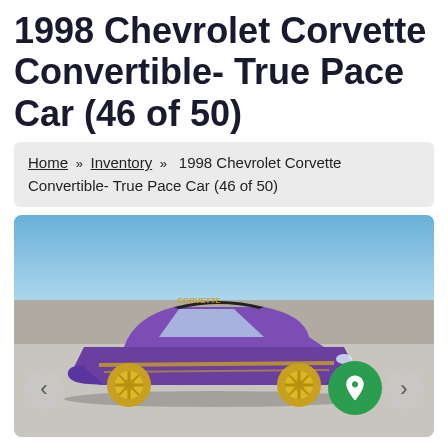1998 Chevrolet Corvette Convertible- True Pace Car (46 of 50)
Home » Inventory » 1998 Chevrolet Corvette Convertible- True Pace Car (46 of 50)
[Figure (photo): Photo of a purple/violet 1998 Chevrolet Corvette Convertible True Pace Car with yellow wheels and gold racing stripes, parked on a racetrack with a concrete barrier wall in the background and blue sky above. Navigation arrows on left and right sides, green circular icon button on right side.]